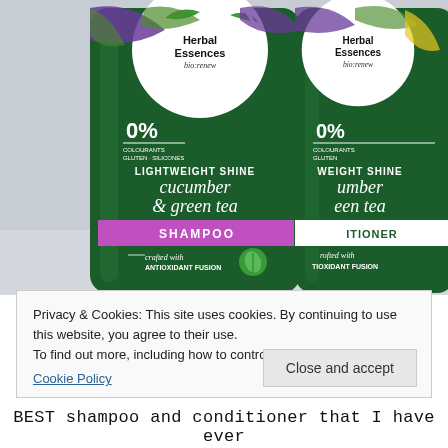[Figure (photo): Two Herbal Essences bio:renew green bottles side by side against a light grey background. Left bottle: Lightweight Shine cucumber & green tea SHAMPOO, crafted with ANTIOXIDANT FUSION, 0% colourants gluten silicones. Right bottle: Lightweight Shine cucumber & green tea CONDITIONER, crafted with ANTIOXIDANT FUSION, 0% colourants gluten.]
Privacy & Cookies: This site uses cookies. By continuing to use this website, you agree to their use.
To find out more, including how to control cookies, see here:
Cookie Policy
Close and accept
BEST shampoo and conditioner that I have ever